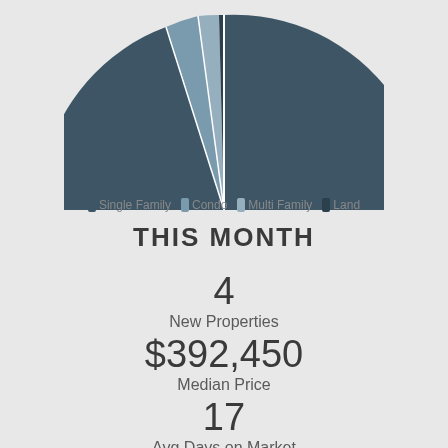[Figure (pie-chart): Property Type Distribution]
Single Family  Condo  Multi Family  Land
THIS MONTH
4
New Properties
$392,450
Median Price
17
Avg Days on Market